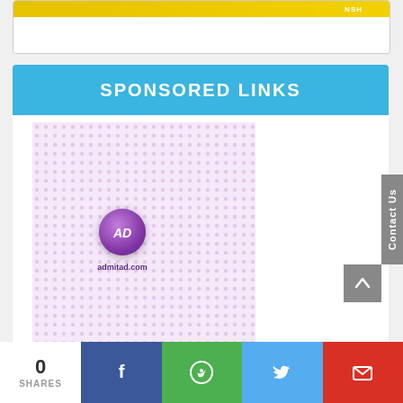[Figure (screenshot): Top card with yellow/gold banner strip and text 'NSH' on the right]
SPONSORED LINKS
[Figure (screenshot): Admitad.com advertisement with pink dotted pattern background and purple AD logo circle]
Contact Us
0 SHARES
[Figure (infographic): Social share bar with Facebook, WhatsApp, Twitter, Gmail icons]